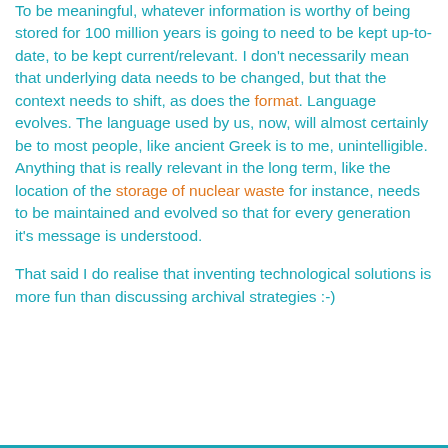To be meaningful, whatever information is worthy of being stored for 100 million years is going to need to be kept up-to-date, to be kept current/relevant. I don't necessarily mean that underlying data needs to be changed, but that the context needs to shift, as does the format. Language evolves. The language used by us, now, will almost certainly be to most people, like ancient Greek is to me, unintelligible. Anything that is really relevant in the long term, like the location of the storage of nuclear waste for instance, needs to be maintained and evolved so that for every generation it's message is understood.
That said I do realise that inventing technological solutions is more fun than discussing archival strategies :-)